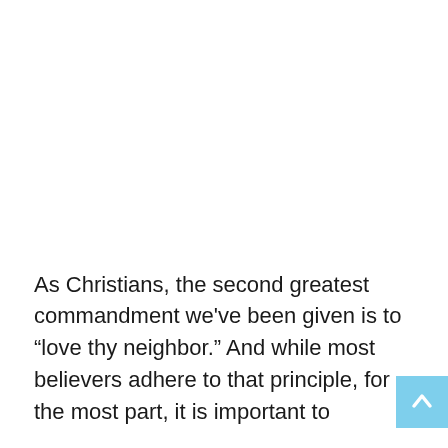As Christians, the second greatest commandment we've been given is to “love thy neighbor.” And while most believers adhere to that principle, for the most part, it is important to